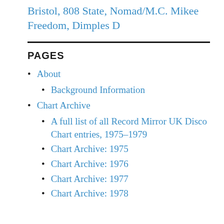Bristol, 808 State, Nomad/M.C. Mikee Freedom, Dimples D
PAGES
About
Background Information
Chart Archive
A full list of all Record Mirror UK Disco Chart entries, 1975-1979
Chart Archive: 1975
Chart Archive: 1976
Chart Archive: 1977
Chart Archive: 1978